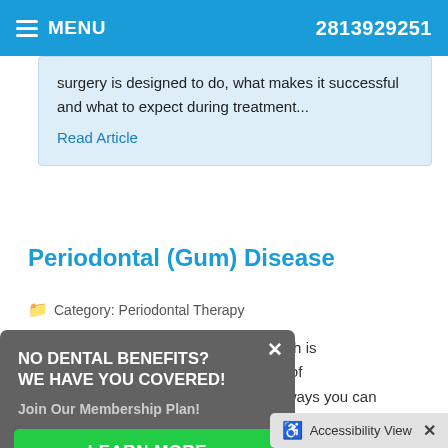MENU  2813929251
surgery is designed to do, what makes it successful and what to expect during treatment...
Read Article
Periodontal (Gum) Disease
Category: Periodontal Therapy
While you may think that some loss of teeth is inevitable... it is actually possible for all of your teeth to last a lifetime. One of the ways you can achieve the goal is to avoid periodontal disease (disease of the gum and tooth), which is caused by bacterial attack. In...
[Figure (screenshot): Popup overlay with dark gray background. Title: NO DENTAL BENEFITS? WE HAVE YOU COVERED! Subtitle: Join Our Membership Plan! Green button: LEARN MORE. Close X button top right.]
Accessibility View